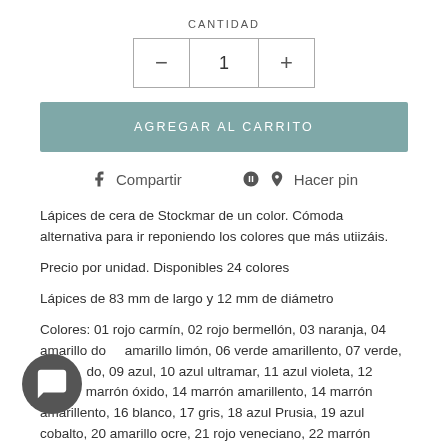CANTIDAD
[Figure (other): Quantity selector with minus button, value 1, and plus button]
AGREGAR AL CARRITO
Compartir   Hacer pin
Lápices de cera de Stockmar de un color. Cómoda alternativa para ir reponiendo los colores que más utiizáis.
Precio por unidad. Disponibles 24 colores
Lápices de 83 mm de largo y 12 mm de diámetro
Colores: 01 rojo carmín, 02 rojo bermellón, 03 naranja, 04 amarillo do  amarillo limón, 06 verde amarillento, 07 verde, 08 ve  do, 09 azul, 10 azul ultramar, 11 azul violeta, 12 púrp  marrón óxido, 14 marrón amarillento, 14 marrón amarillento, 16 blanco, 17 gris, 18 azul Prusia, 19 azul cobalto, 20 amarillo ocre, 21 rojo veneciano, 22 marrón sombra, 23 verde...